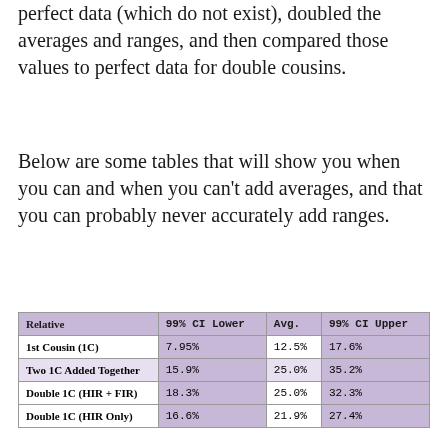perfect data (which do not exist), doubled the averages and ranges, and then compared those values to perfect data for double cousins.
Below are some tables that will show you when you can and when you can't add averages, and that you can probably never accurately add ranges.
| Relative | 99% CI Lower | Avg. | 99% CI Upper |
| --- | --- | --- | --- |
| 1st Cousin (1C) | 7.95% | 12.5% | 17.6% |
| Two 1C Added Together | 15.9% | 25.0% | 35.2% |
| Double 1C (HIR + FIR) | 18.3% | 25.0% | 32.3% |
| Double 1C (HIR Only) | 16.6% | 21.9% | 27.4% |